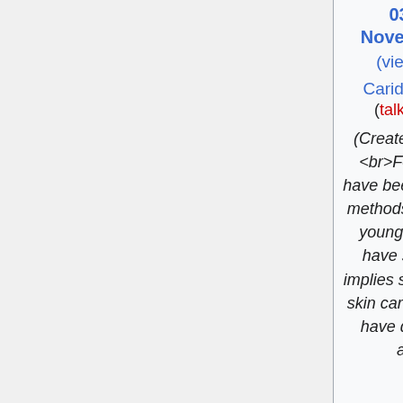03:27, 26 November 2021 (view source) CaridadRosa613 (talk | contribs) (Created page with "<br>For those who have been trying to find methods for searching younger, you could have saw that this implies suitable healthy skin care. The skin we have displays a lot abou...")
as of 07:04, 27 November 2021 (view source) KarlDuffy882 (talk | contribs) m